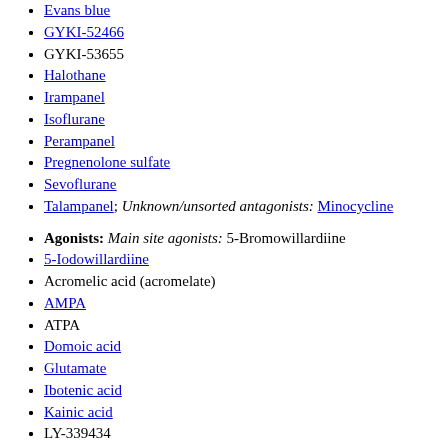Evans blue
GYKI-52466
GYKI-53655
Halothane
Irampanel
Isoflurane
Perampanel
Pregnenolone sulfate
Sevoflurane
Talampanel; Unknown/unsorted antagonists: Minocycline
Agonists: Main site agonists: 5-Bromowillardiine
5-Iodowillardiine
Acromelic acid (acromelate)
AMPA
ATPA
Domoic acid
Glutamate
Ibotenic acid
Kainic acid
LY-339434
Proline
Quisqualic acid